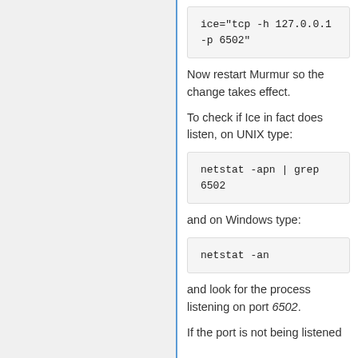[Figure (screenshot): Code block showing: ice="tcp -h 127.0.0.1 -p 6502"]
Now restart Murmur so the change takes effect.
To check if Ice in fact does listen, on UNIX type:
[Figure (screenshot): Code block showing: netstat -apn | grep 6502]
and on Windows type:
[Figure (screenshot): Code block showing: netstat -an]
and look for the process listening on port 6502.
If the port is not being listened...